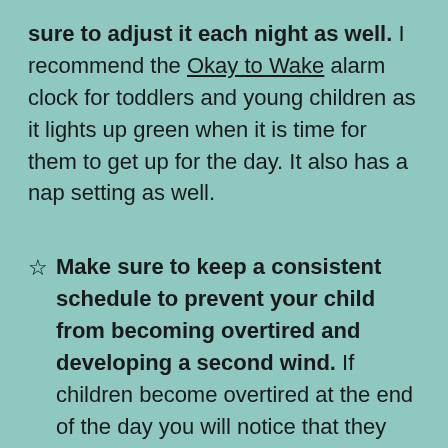sure to adjust it each night as well. I recommend the Okay to Wake alarm clock for toddlers and young children as it lights up green when it is time for them to get up for the day. It also has a nap setting as well.
☆ Make sure to keep a consistent schedule to prevent your child from becoming overtired and developing a second wind. If children become overtired at the end of the day you will notice that they seem to get more alert and hyper in the evening. This is due to a rush of the hormone cortisol which helps them